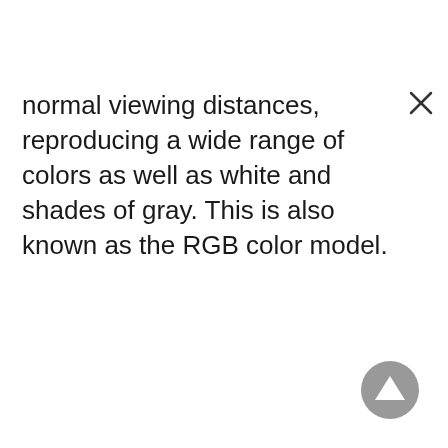normal viewing distances, reproducing a wide range of colors as well as white and shades of gray. This is also known as the RGB color model.
[Figure (other): Close button (×) in top right corner of a popup or modal dialog]
[Figure (other): Gray circular scroll-to-top button with upward-pointing triangle arrow in bottom right corner]